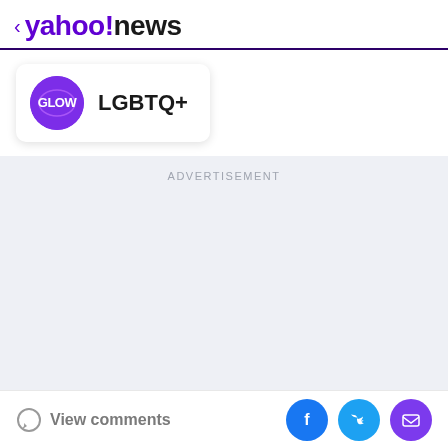< yahoo!news
[Figure (logo): GLOW channel logo circle with LGBTQ+ text label, shown as a card with shadow]
ADVERTISEMENT
View comments
[Figure (infographic): Social share buttons: Facebook (blue circle), Twitter (cyan circle), Mail (purple circle)]